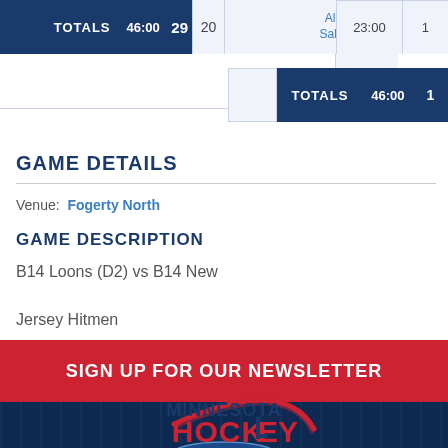|  | TOTALS | 46:00 | 29 | 20 | Alex Sabev | 23:00 | 1 |
| --- | --- | --- | --- | --- | --- | --- | --- |
|  | TOTALS | 46:00 | 1 |
GAME DETAILS
Venue: Fogerty North
GAME DESCRIPTION
B14 Loons (D2) vs B14 New Jersey Hitmen
SIGN UP FOR OUR NEWSLETTER
[Figure (logo): Minnesota Hockey logo with red and blue text and hockey puck graphic]